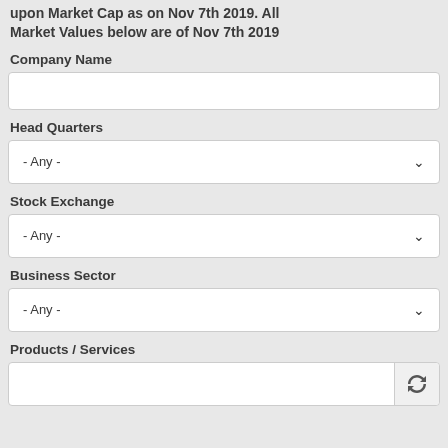upon Market Cap as on Nov 7th 2019. All Market Values below are of Nov 7th 2019
Company Name
[Figure (screenshot): Text input field for Company Name, empty white box with border]
Head Quarters
[Figure (screenshot): Dropdown select field showing '- Any -' with chevron arrow]
Stock Exchange
[Figure (screenshot): Dropdown select field showing '- Any -' with chevron arrow]
Business Sector
[Figure (screenshot): Dropdown select field showing '- Any -' with chevron arrow]
Products / Services
[Figure (screenshot): Text input field with refresh/search button on right side]